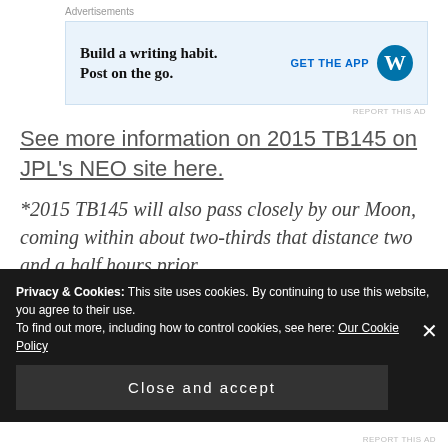[Figure (other): WordPress app advertisement banner: 'Build a writing habit. Post on the go.' with 'GET THE APP' button and WordPress logo]
See more information on 2015 TB145 on JPL's NEO site here.
*2015 TB145 will also pass closely by our Moon, coming within about two-thirds that distance two and a half hours prior.
UPDATE 10/30: radar observations from the Arecibo Observatory have been used to create an image of the
Privacy & Cookies: This site uses cookies. By continuing to use this website, you agree to their use.
To find out more, including how to control cookies, see here: Our Cookie Policy
Close and accept